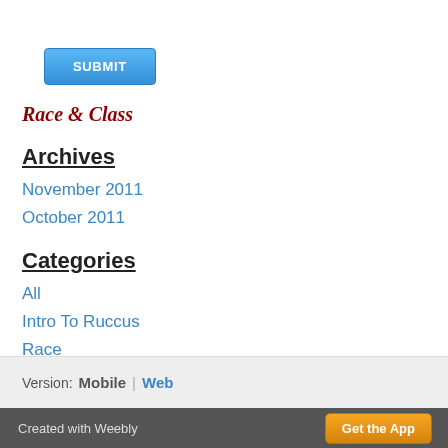[Figure (other): Blue SUBMIT button]
Race & Class
Archives
November 2011
October 2011
Categories
All
Intro To Ruccus
Race
Welfare
[Figure (other): RSS feed icon with RSS Feed link]
Version:  Mobile  |  Web
Created with Weebly  Get the App